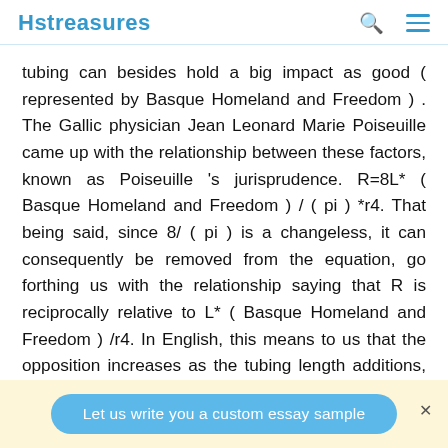Hstreasures
tubing can besides hold a big impact as good ( represented by Basque Homeland and Freedom ) . The Gallic physician Jean Leonard Marie Poiseuille came up with the relationship between these factors, known as Poiseuille 's jurisprudence. R=8L* ( Basque Homeland and Freedom ) / ( pi ) *r4. That being said, since 8/ ( pi ) is a changeless, it can consequently be removed from the equation, go forthing us with the relationship saying that R is reciprocally relative to L* ( Basque Homeland and Freedom ) /r4. In English, this means to us that the opposition increases as the tubing length additions, that the opposition increases as the viscousness additions, and the opposition
Let us write you a custom essay sample